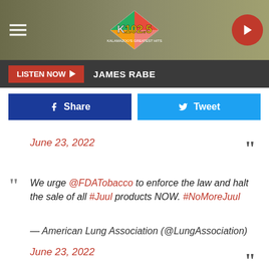[Figure (screenshot): K102.5 radio station website header with logo, hamburger menu, and play button]
LISTEN NOW  JAMES RABE
Share   Tweet
June 23, 2022
We urge @FDATobacco to enforce the law and halt the sale of all #Juul products NOW. #NoMoreJuul
— American Lung Association (@LungAssociation)
June 23, 2022